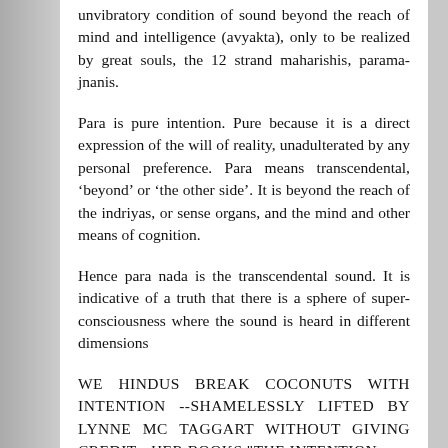unvibratory condition of sound beyond the reach of mind and intelligence (avyakta), only to be realized by great souls, the 12 strand maharishis, parama-jnanis.
Para is pure intention. Pure because it is a direct expression of the will of reality, unadulterated by any personal preference. Para means transcendental, ‘beyond’ or ‘the other side’. It is beyond the reach of the indriyas, or sense organs, and the mind and other means of cognition.
Hence para nada is the transcendental sound. It is indicative of a truth that there is a sphere of super-consciousness where the sound is heard in different dimensions
WE HINDUS BREAK COCONUTS WITH INTENTION --SHAMELESSLY LIFTED BY LYNNE MC TAGGART WITHOUT GIVING CREDIT-- HER BOOKS "THE INTENTION